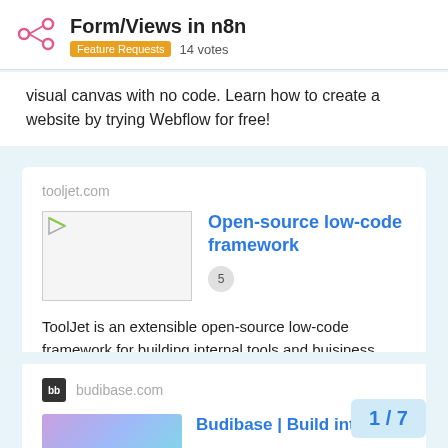Form/Views in n8n
Feature Requests   14 votes
visual canvas with no code. Learn how to create a website by trying Webflow for free!
tooljet.com
Open-source low-code framework
ToolJet is an extensible open-source low-code framework for building internal tools and buisiness applications.
budibase.com
Budibase | Build inte
1 / 7